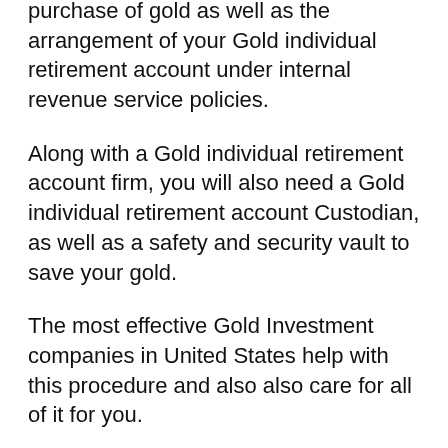purchase of gold as well as the arrangement of your Gold individual retirement account under internal revenue service policies.
Along with a Gold individual retirement account firm, you will also need a Gold individual retirement account Custodian, as well as a safety and security vault to save your gold.
The most effective Gold Investment companies in United States help with this procedure and also also care for all of it for you.
Advantages of a Gold individual retirement account- Why Should I Obtain One?